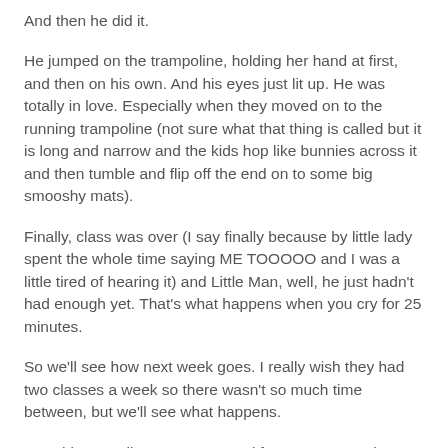And then he did it.
He jumped on the trampoline, holding her hand at first, and then on his own.  And his eyes just lit up.  He was totally in love.  Especially when they moved on to the running trampoline (not sure what that thing is called but it is long and narrow and the kids hop like bunnies across it and then tumble and flip off the end on to some big smooshy mats).
Finally, class was over (I say finally because by little lady spent the whole time saying ME TOOOOO and I was a little tired of hearing it) and Little Man, well, he just hadn't had enough yet.  That's what happens when you cry for 25 minutes.
So we'll see how next week goes.  I really wish they had two classes a week so there wasn't so much time between, but we'll see what happens.
One thing I really wasn't prepared for was my reaction.  I knew there would be problems, that there would be tears, but I honestly didn't ever expect that behaviour.  I have never